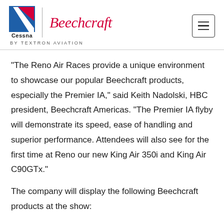[Figure (logo): Cessna and Beechcraft by Textron Aviation logos, and a hamburger menu icon button]
“The Reno Air Races provide a unique environment to showcase our popular Beechcraft products, especially the Premier IA,” said Keith Nadolski, HBC president, Beechcraft Americas. “The Premier IA flyby will demonstrate its speed, ease of handling and superior performance. Attendees will also see for the first time at Reno our new King Air 350i and King Air C90GTx.”
The company will display the following Beechcraft products at the show: